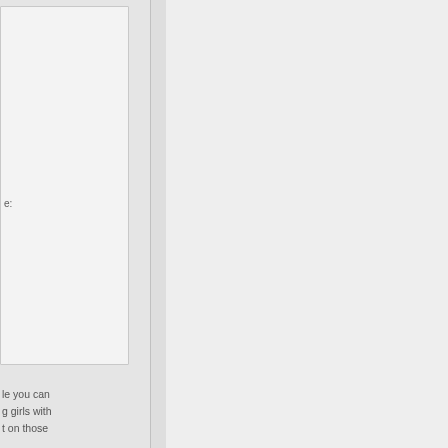[Figure (screenshot): Partial view of a multi-column web interface or document viewer. Left side shows two partially visible card/panel elements with truncated text fragments. A vertical divider separates the left column from a light gray middle column. A white gap and a light teal/green right column are also visible. The visible text fragments read: 'e..' at the top card, then 'le you can', 'g girls with', 't on those', 'g us in the' in the middle card area, and 'abama or' and partial text at the bottom card.]